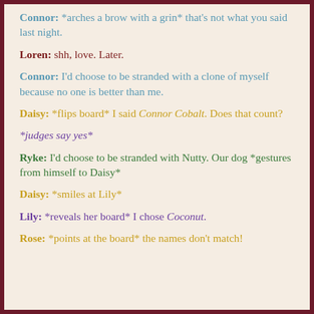Connor: *arches a brow with a grin* that's not what you said last night.
Loren: shh, love. Later.
Connor: I'd choose to be stranded with a clone of myself because no one is better than me.
Daisy: *flips board* I said Connor Cobalt. Does that count?
*judges say yes*
Ryke: I'd choose to be stranded with Nutty. Our dog *gestures from himself to Daisy*
Daisy: *smiles at Lily*
Lily: *reveals her board* I chose Coconut.
Rose: *points at the board* the names don't match!